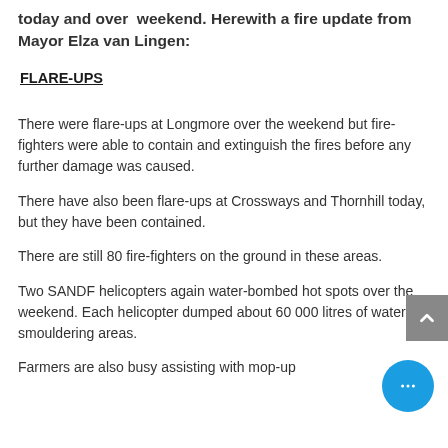today and over  weekend. Herewith a fire update from Mayor Elza van Lingen:
FLARE-UPS
There were flare-ups at Longmore over the weekend but fire-fighters were able to contain and extinguish the fires before any further damage was caused.
There have also been flare-ups at Crossways and Thornhill today, but they have been contained.
There are still 80 fire-fighters on the ground in these areas.
Two SANDF helicopters again water-bombed hot spots over the weekend. Each helicopter dumped about 60 000 litres of water on smouldering areas.
Farmers are also busy assisting with mop-up